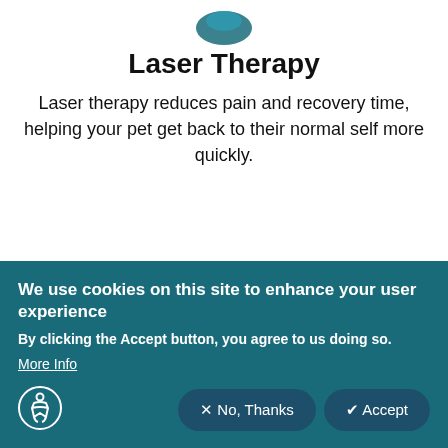[Figure (logo): Partial teal/blue logo at top center]
Laser Therapy
Laser therapy reduces pain and recovery time, helping your pet get back to their normal self more quickly.
We use cookies on this site to enhance your user experience
By clicking the Accept button, you agree to us doing so.
More Info